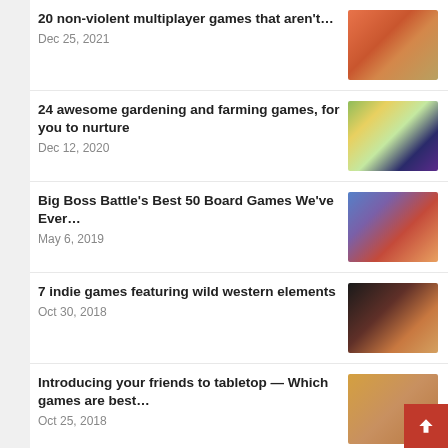20 non-violent multiplayer games that aren't…
Dec 25, 2021
24 awesome gardening and farming games, for you to nurture
Dec 12, 2020
Big Boss Battle's Best 50 Board Games We've Ever…
May 6, 2019
7 indie games featuring wild western elements
Oct 30, 2018
Introducing your friends to tabletop — Which games are best…
Oct 25, 2018
5 announced, in development games where you can play as a…